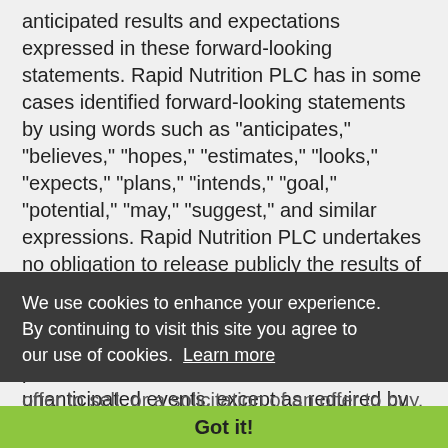anticipated results and expectations expressed in these forward-looking statements. Rapid Nutrition PLC has in some cases identified forward-looking statements by using words such as "anticipates," "believes," "hopes," "estimates," "looks," "expects," "plans," "intends," "goal," "potential," "may," "suggest," and similar expressions. Rapid Nutrition PLC undertakes no obligation to release publicly the results of any revisions to any such forward-looking statements that may be made to reflect events or circumstances after the date of this press release or to reflect the occurrence of unanticipated events, except as required by applicable law or regulation.
This media information does not constitute an offer to sell, or a solicitation of an offer to buy, any securities. This information does not constitute an offering prospectus within the meaning within the meaning of Regulation (EU) 2017 of the European Parliament and of the Council of 14 of June 2017 on the prospectus
We use cookies to enhance your experience. By continuing to visit this site you agree to our use of cookies. Learn more
Got it!